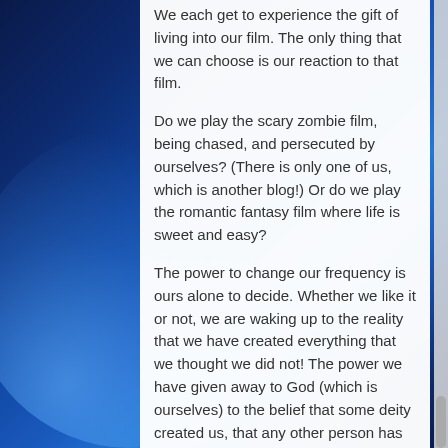We each get to experience the gift of living into our film. The only thing that we can choose is our reaction to that film.
Do we play the scary zombie film, being chased, and persecuted by ourselves? (There is only one of us, which is another blog!) Or do we play the romantic fantasy film where life is sweet and easy?
The power to change our frequency is ours alone to decide. Whether we like it or not, we are waking up to the reality that we have created everything that we thought we did not! The power we have given away to God (which is ourselves) to the belief that some deity created us, that any other person has any control over us, is old-school, old hat, and nonsensical.
The Great Awakening planned by us is happening and there is nothing we can do to stop it. Our capacity for love is expanding. To answer the